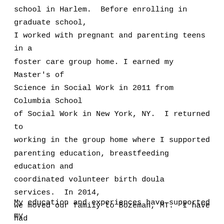school in Harlem.  Before enrolling in graduate school, I worked with pregnant and parenting teens in a foster care group home. I earned my Master's of Science in Social Work in 2011 from Columbia School of Social Work in New York, NY.  I returned to working in the group home where I supported parenting education, breastfeeding education and coordinated volunteer birth doula services.  In 2014, we moved our family to Bozeman, MT.  I have had the privilege of working in various schools both in Livingston and Bozeman as a Comprehensive School and Community Treatment (CSCT) program therapist as well as a Safe-ti (School and Family Engagement – Trauma Informed) counselor
My education and experiences have supported my